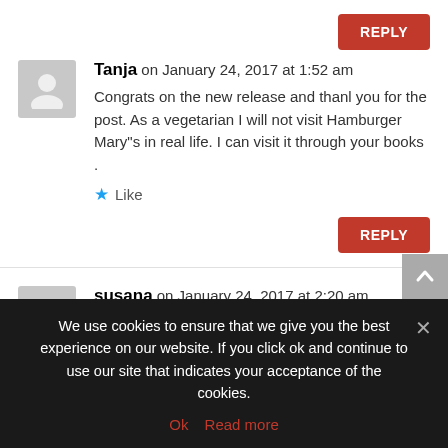REPLY (top)
Tanja on January 24, 2017 at 1:52 am
Congrats on the new release and thanl you for the post. As a vegetarian I will not visit Hamburger Mary"s in real life. I can visit it through your books .
Like
REPLY
susana on January 24, 2017 at 2:20 am
Congratulations on the new release, Brendon. There is
We use cookies to ensure that we give you the best experience on our website. If you click ok and continue to use our site that indicates your acceptance of the cookies.
Ok  Read more